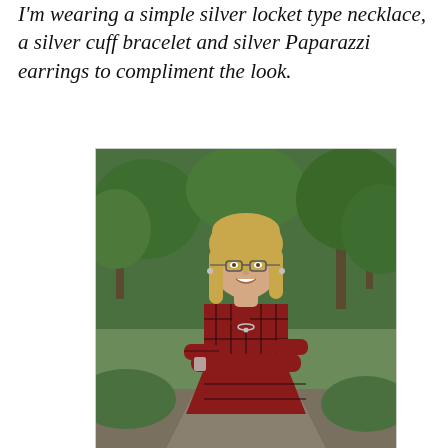I'm wearing a simple silver locket type necklace, a silver cuff bracelet and silver Paparazzi earrings to compliment the look.
[Figure (photo): A woman with blonde hair and glasses, wearing a red and black plaid long shirt/dress with arms crossed, smiling, standing outdoors in a wooded green area with trees in the background.]